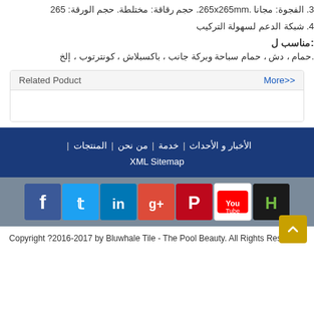3. الفجوة: مجانا .265x265mm. حجم رقاقة: مختلطة. حجم الورقة: 265
4. شبكة الدعم لسهولة التركيب
مناسب ل:
.حمام ، دش ، حمام سباحة وبركة جانب ، باكسبلاش ، كونترتوب ، إلخ
| Related Poduct | More>> |
| --- | --- |
الأخبار والأحداث | خدمة | من نحن | المنتجات | XML Sitemap
[Figure (infographic): Social media icons: Facebook, Twitter, LinkedIn, Google+, Pinterest, YouTube, Houzz]
Copyright ?2016-2017 by Bluwhale Tile - The Pool Beauty. All Rights Reserved.